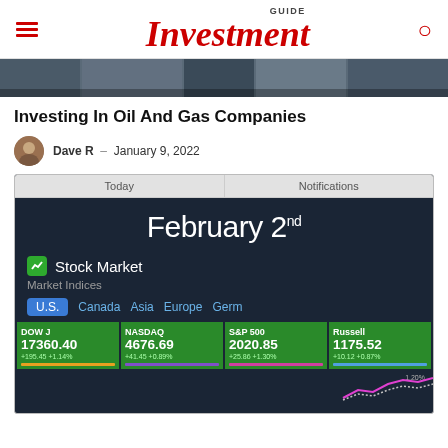GUIDE Investment
[Figure (photo): Partial hero image showing a building/office exterior, cropped strip at top of article]
Investing In Oil And Gas Companies
Dave R  -  January 9, 2022
[Figure (screenshot): Smartphone screenshot showing stock market app with Market Indices for U.S. markets on February 2nd. Shows DOW J 17360.40 +195.45 +1.14%, NASDAQ 4676.69 +41.45 +0.89%, S&P 500 2020.85 +25.86 +1.30%, Russell 1175.52 +10.12 +0.87%]